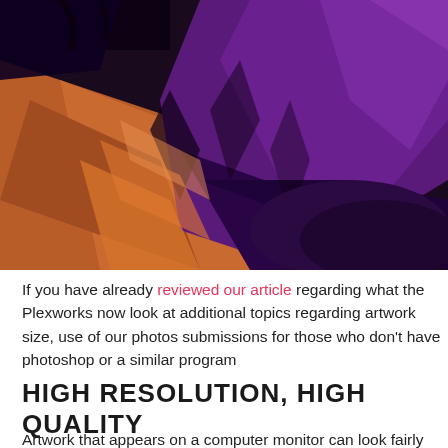[Figure (illustration): Close-up digital illustration of fabric folds in deep purple, orange, and dark tones — appears to be part of an anime or digital artwork showing draped clothing or cape.]
If you have already reviewed our article regarding what the Plexworks now look at additional topics regarding artwork size, use of our photos submissions for those who don't have photoshop or a similar program
HIGH RESOLUTION, HIGH QUALITY
Artwork that appears on a computer monitor can look fairly sharp...